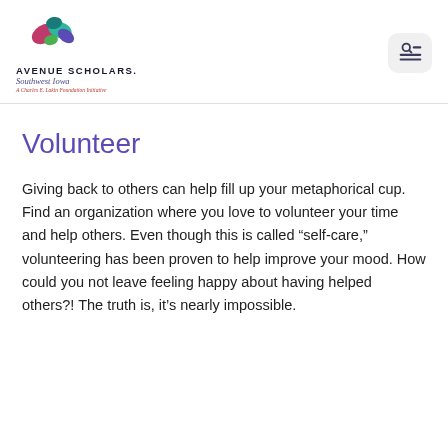[Figure (logo): Avenue Scholars Southwest Iowa logo with colorful abstract leaf/bird shapes and text 'AVENUE SCHOLARS. Southwest Iowa. A Charles E. Lakin Foundation Initiative']
Volunteer
Giving back to others can help fill up your metaphorical cup. Find an organization where you love to volunteer your time and help others. Even though this is called “self-care,” volunteering has been proven to help improve your mood. How could you not leave feeling happy about having helped others?! The truth is, it’s nearly impossible.